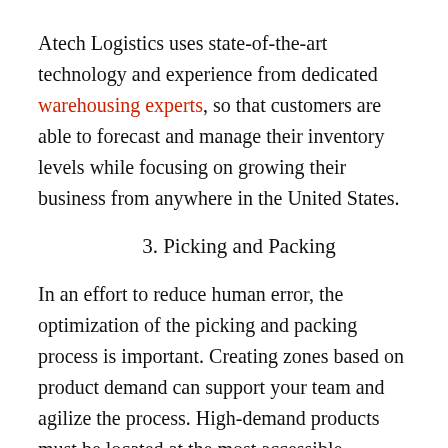Atech Logistics uses state-of-the-art technology and experience from dedicated warehousing experts, so that customers are able to forecast and manage their inventory levels while focusing on growing their business from anywhere in the United States.
3. Picking and Packing
In an effort to reduce human error, the optimization of the picking and packing process is important. Creating zones based on product demand can support your team and agilize the process. High-demand products must be located at the most accessible location.